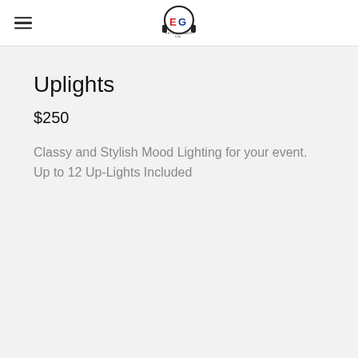EG Entertainment (logo with hamburger menu)
Uplights
$250
Classy and Stylish Mood Lighting for your event. Up to 12 Up-Lights Included